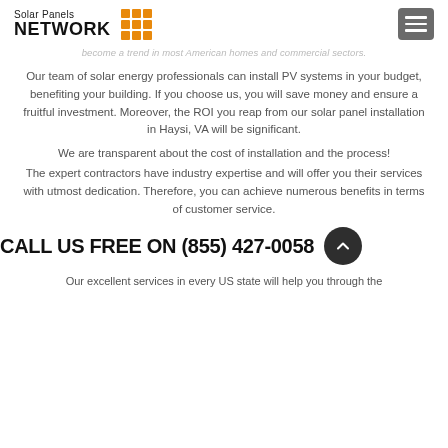Solar Panels NETWORK
become a trend in most American homes and commercial sectors.
Our team of solar energy professionals can install PV systems in your budget, benefiting your building. If you choose us, you will save money and ensure a fruitful investment. Moreover, the ROI you reap from our solar panel installation in Haysi, VA will be significant.
We are transparent about the cost of installation and the process!
The expert contractors have industry expertise and will offer you their services with utmost dedication. Therefore, you can achieve numerous benefits in terms of customer service.
CALL US FREE ON (855) 427-0058
Our excellent services in every US state will help you through the